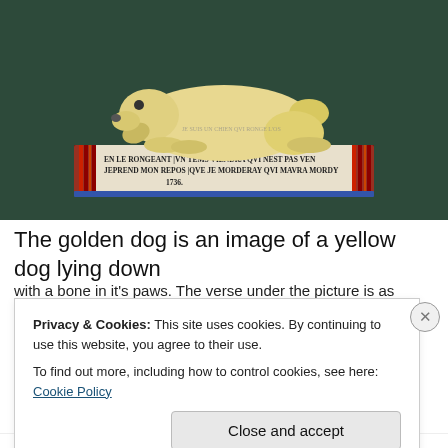[Figure (photo): A ceramic or ivory figurine of a yellow dog lying down on a decorative base/book. The base has French text inscription: 'EN LE RONGEANT | VN TEMS VIENDRA QVI NEST PAS VEN | JEPREND MON REPOS | QVE JE MORDERAY QVI MAVRA MORDY | 1736.']
The golden dog is an image of a yellow dog lying down
with a bone in it's paws. The verse under the picture is as
Privacy & Cookies: This site uses cookies. By continuing to use this website, you agree to their use.
To find out more, including how to control cookies, see here: Cookie Policy
Close and accept